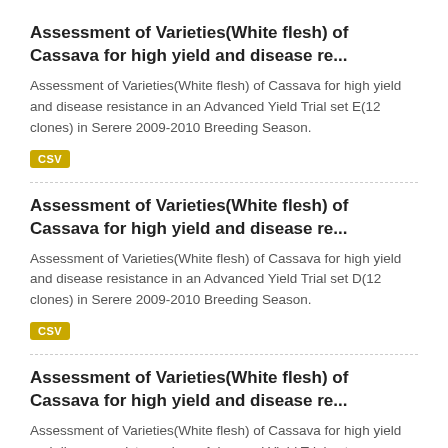Assessment of Varieties(White flesh) of Cassava for high yield and disease re...
Assessment of Varieties(White flesh) of Cassava for high yield and disease resistance in an Advanced Yield Trial set E(12 clones) in Serere 2009-2010 Breeding Season.
CSV
Assessment of Varieties(White flesh) of Cassava for high yield and disease re...
Assessment of Varieties(White flesh) of Cassava for high yield and disease resistance in an Advanced Yield Trial set D(12 clones) in Serere 2009-2010 Breeding Season.
CSV
Assessment of Varieties(White flesh) of Cassava for high yield and disease re...
Assessment of Varieties(White flesh) of Cassava for high yield and disease resistance in an Advanced Yield Trial set